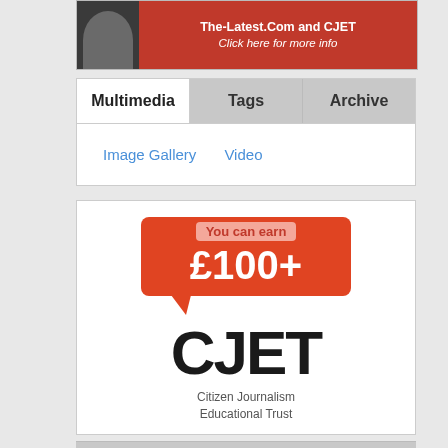[Figure (photo): Advertisement banner with a man's photo and text 'The-Latest.Com and CJET Click here for more info' on a dark/red background]
Multimedia | Tags | Archive — navigation tabs
Image Gallery
Video
[Figure (logo): CJET advertisement: speech bubble saying 'You can earn £100+' above the CJET logo and text 'Citizen Journalism Educational Trust']
LATEST POLL